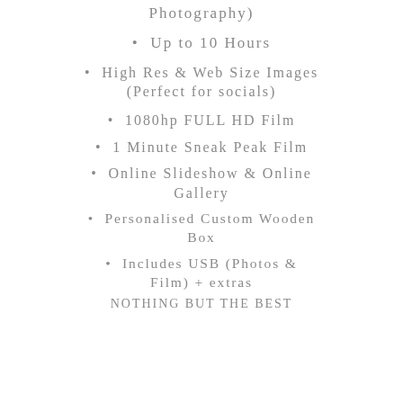Photography)
Up to 10 Hours
High Res & Web Size Images (Perfect for socials)
1080hp FULL HD Film
1 Minute Sneak Peak Film
Online Slideshow & Online Gallery
Personalised Custom Wooden Box
Includes USB (Photos & Film) + extras
NOTHING BUT THE BEST